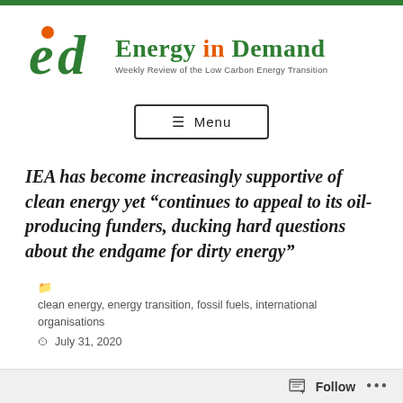[Figure (logo): Energy in Demand logo: stylized 'e' in dark green and 'd' in dark green with an orange dot/circle accent, forming 'ed' monogram]
Energy in Demand
Weekly Review of the Low Carbon Energy Transition
≡ Menu
IEA has become increasingly supportive of clean energy yet “continues to appeal to its oil-producing funders, ducking hard questions about the endgame for dirty energy”
clean energy, energy transition, fossil fuels, international organisations
July 31, 2020